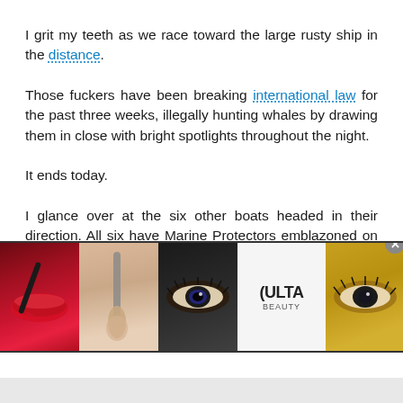I grit my teeth as we race toward the large rusty ship in the distance.
Those fuckers have been breaking international law for the past three weeks, illegally hunting whales by drawing them in close with bright spotlights throughout the night.
It ends today.
I glance over at the six other boats headed in their direction. All six have Marine Protectors emblazoned on the side in bright yellow writing.
It's been three years since I've joined the organization and this is my ninth run in the field. Today we're battling in the South China
[Figure (photo): Advertisement banner for ULTA Beauty showing cosmetics imagery including red lips with brush, makeup brush on skin, eye with makeup, ULTA logo, close-up eye, and SHOP NOW text]